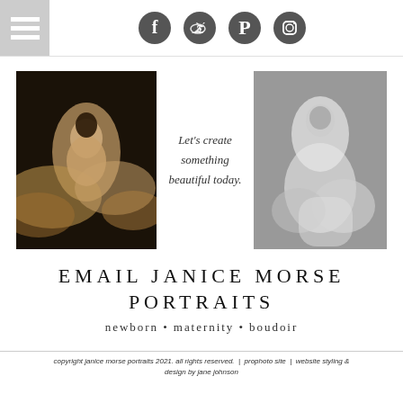[Figure (other): Navigation hamburger menu icon and social media icons (Facebook, Twitter, Pinterest, Instagram) in dark gray circles]
[Figure (photo): Maternity photo of a pregnant woman in flowing golden/beige fabric on dark background]
Let's create something beautiful today.
[Figure (photo): Black and white maternity photo of a pregnant woman in flowing light fabric]
EMAIL JANICE MORSE PORTRAITS
newborn • maternity • boudoir
copyright janice morse portraits 2021. all rights reserved. | prophoto site | website styling & design by jane johnson